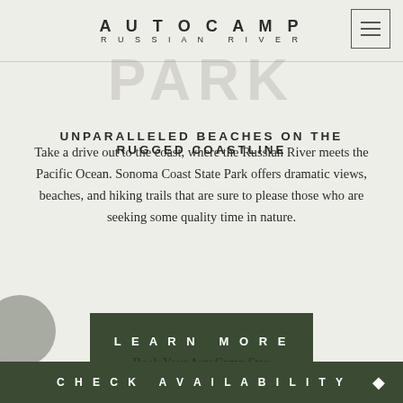AUTOCAMP RUSSIAN RIVER
UNPARALLELED BEACHES ON THE RUGGED COASTLINE
Take a drive out to the coast, where the Russian River meets the Pacific Ocean. Sonoma Coast State Park offers dramatic views, beaches, and hiking trails that are sure to please those who are seeking some quality time in nature.
LEARN MORE
Book Your AutoCamp Stay
CHECK AVAILABILITY